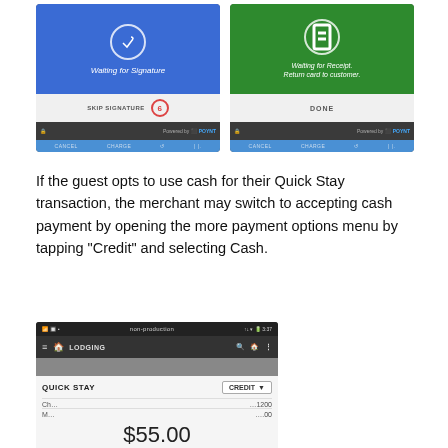[Figure (screenshot): Two side-by-side device screenshots. Left: blue screen 'Waiting for Signature' with 'SKIP SIGNATURE' button and circled number 6. Right: green screen 'Waiting for Receipt. Return card to customer.' with 'DONE' button.]
If the guest opts to use cash for their Quick Stay transaction, the merchant may switch to accepting cash payment by opening the more payment options menu by tapping "Credit" and selecting Cash.
[Figure (screenshot): Android device screenshot showing Lodging app with Quick Stay screen. Shows CREDIT dropdown button and amount $55.00.]